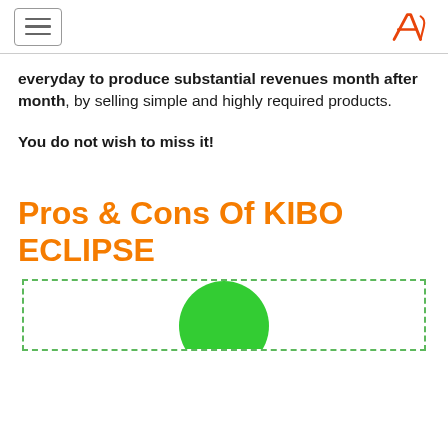[hamburger menu icon] [A logo]
everyday to produce substantial revenues month after month, by selling simple and highly required products.
You do not wish to miss it!
Pros & Cons Of KIBO ECLIPSE
[Figure (illustration): Dashed green border box with a green circle/dome shape visible at the bottom center, partially cropped]